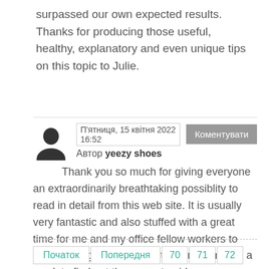surpassed our own expected results. Thanks for producing those useful, healthy, explanatory and even unique tips on this topic to Julie.
П'ятниця, 15 квітня 2022 16:52 Автор yeezy shoes Thank you so much for giving everyone an extraordinarily breathtaking possiblity to read in detail from this web site. It is usually very fantastic and also stuffed with a great time for me and my office fellow workers to visit the blog the equivalent of three times in a week to find out the newest guidance you have got. Of course, I'm also certainly happy with the beautiful tips you serve. Selected two areas in this article are particularly the most suitable we've ever had.
Початок Попередня 70 71 72